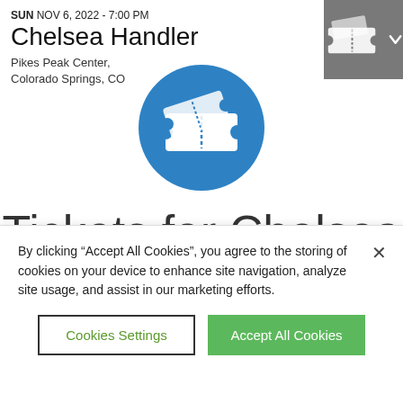SUN NOV 6, 2022 - 7:00 PM
Chelsea Handler
Pikes Peak Center, Colorado Springs, CO
[Figure (logo): White ticket icon on grey square background, top right corner]
[Figure (logo): White ticket icon on blue circle, center of page]
Tickets for Chelsea Handler
By clicking “Accept All Cookies”, you agree to the storing of cookies on your device to enhance site navigation, analyze site usage, and assist in our marketing efforts.
Cookies Settings
Accept All Cookies